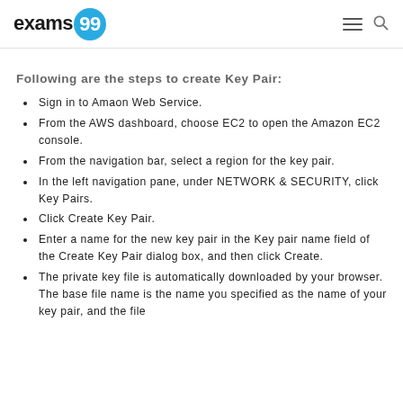exams99
Following are the steps to create Key Pair:
Sign in to Amaon Web Service.
From the AWS dashboard, choose EC2 to open the Amazon EC2 console.
From the navigation bar, select a region for the key pair.
In the left navigation pane, under NETWORK & SECURITY, click Key Pairs.
Click Create Key Pair.
Enter a name for the new key pair in the Key pair name field of the Create Key Pair dialog box, and then click Create.
The private key file is automatically downloaded by your browser. The base file name is the name you specified as the name of your key pair, and the file